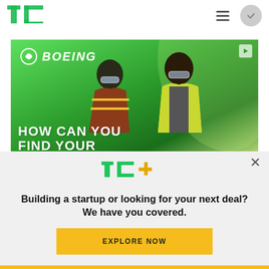TechCrunch navigation bar with TC logo, hamburger menu, and circle check button
[Figure (photo): Boeing advertisement with green background, two workers in safety vests and glasses, Boeing logo at top, text reading HOW CAN YOU FIND YOUR]
[Figure (logo): TC+ logo in green and orange/yellow]
Building a startup or looking for your next deal? We have you covered.
EXPLORE NOW